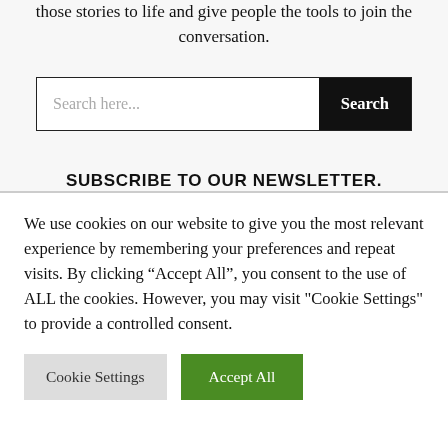those stories to life and give people the tools to join the conversation.
[Figure (screenshot): Search bar with text input labeled 'Search here...' and a black 'Search' button on the right.]
SUBSCRIBE TO OUR NEWSLETTER.
We use cookies on our website to give you the most relevant experience by remembering your preferences and repeat visits. By clicking “Accept All”, you consent to the use of ALL the cookies. However, you may visit "Cookie Settings" to provide a controlled consent.
Cookie Settings
Accept All